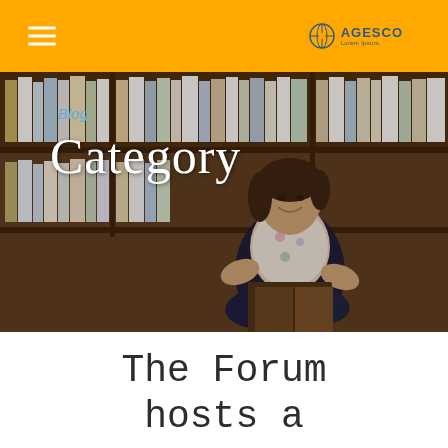AGESCO
[Figure (photo): A young woman sitting cross-legged in a library, smiling and holding an open book, with bookshelves full of books in the background]
Blog
Category
The Forum hosts a